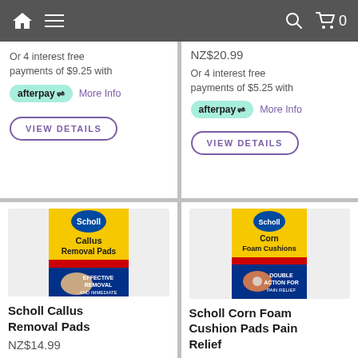Navigation bar with home, menu, search, and cart (0 items)
Or 4 interest free payments of $9.25 with afterpay More Info
VIEW DETAILS
NZ$20.99
Or 4 interest free payments of $5.25 with afterpay More Info
VIEW DETAILS
[Figure (photo): Scholl Callus Removal Pads product box - yellow and blue packaging]
Scholl Callus Removal Pads
NZ$14.99
[Figure (photo): Scholl Corn Foam Cushion Pads Pain Relief product box - yellow and blue packaging]
Scholl Corn Foam Cushion Pads Pain Relief